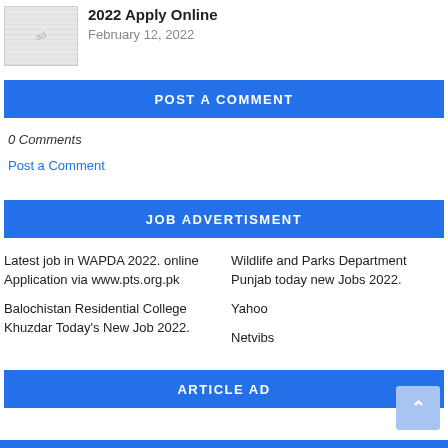2022 Apply Online
February 12, 2022
POST A COMMENT
0 Comments
Post a Comment
JOB ADVERTISMENT
Latest job in WAPDA 2022. online Application via www.pts.org.pk
Wildlife and Parks Department Punjab today new Jobs 2022.
Balochistan Residential College Khuzdar Today's New Job 2022.
Yahoo
Netvibs
ARTICLE AD